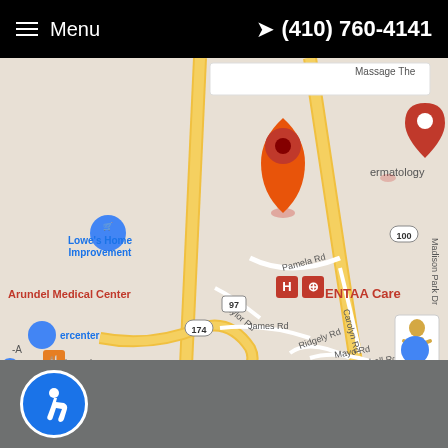≡ Menu   ✈ (410) 760-4141
[Figure (map): Google Maps showing ENTAA Care location near Arundel Medical Center, Lowe's Home Improvement, Crabtowne USA, Wawa in the Glen Burnie/Hanover, MD area. Map markers visible for Dermatology, ENTAA Care, Arundel Medical Center. Roads shown include Pamela Rd, Baylor Rd, James Rd, Carolyn Rd, Ridgely Rd, Mayo Rd, Marshall Rd, Marlboro Rd, Marion Rd. Route markers 97, 100, 174 visible. Map data ©2022 Google.]
Accessibility icon (wheelchair symbol)